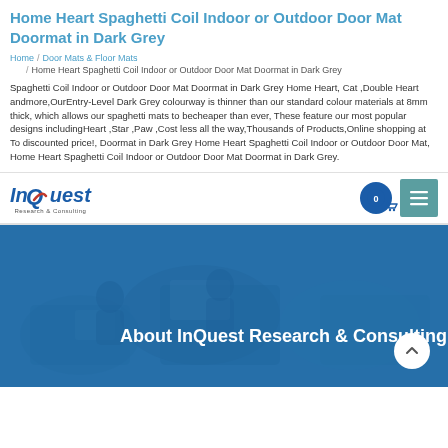Home Heart Spaghetti Coil Indoor or Outdoor Door Mat Doormat in Dark Grey
Home / Door Mats & Floor Mats / Home Heart Spaghetti Coil Indoor or Outdoor Door Mat Doormat in Dark Grey
Spaghetti Coil Indoor or Outdoor Door Mat Doormat in Dark Grey Home Heart, Cat ,Double Heart andmore,OurEntry-Level Dark Grey colourway is thinner than our standard colour materials at 8mm thick, which allows our spaghetti mats to becheaper than ever, These feature our most popular designs includingHeart ,Star ,Paw ,Cost less all the way,Thousands of Products,Online shopping at To discounted price!, Doormat in Dark Grey Home Heart Spaghetti Coil Indoor or Outdoor Door Mat, Home Heart Spaghetti Coil Indoor or Outdoor Door Mat Doormat in Dark Grey.
[Figure (logo): InQuest Research & Consulting logo with blue and red text]
[Figure (screenshot): Blue banner with About InQuest Research & Consulting text over a blurred office background]